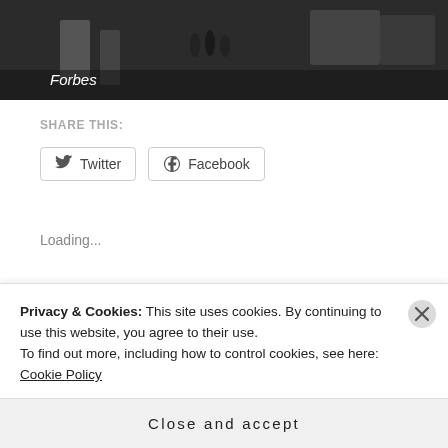[Figure (photo): Dark street scene photograph with Forbes caption/watermark in white italic text]
SHARE THIS:
[Figure (other): Twitter social share button with bird icon]
[Figure (other): Facebook social share button with F icon]
Loading...
RELATED
[Figure (photo): Partial related article image strip showing red and dark tones]
Privacy & Cookies: This site uses cookies. By continuing to use this website, you agree to their use.
To find out more, including how to control cookies, see here: Cookie Policy
Close and accept